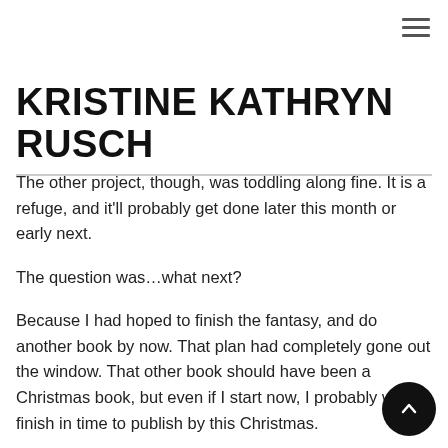KRISTINE KATHRYN RUSCH
The other project, though, was toddling along fine. It is a refuge, and it'll probably get done later this month or early next.
The question was…what next?
Because I had hoped to finish the fantasy, and do another book by now. That plan had completely gone out the window. That other book should have been a Christmas book, but even if I start now, I probably won't finish in time to publish by this Christmas.
And really, I'm having trouble accepting that it's October. I rea…